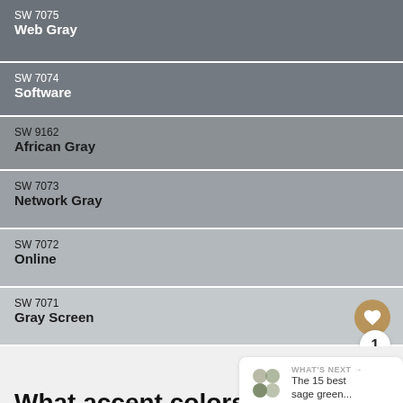SW 7075 Web Gray
SW 7074 Software
SW 9162 African Gray
SW 7073 Network Gray
SW 7072 Online
SW 7071 Gray Screen
What accent colors work best with SW Online?
WHAT'S NEXT → The 15 best sage green...